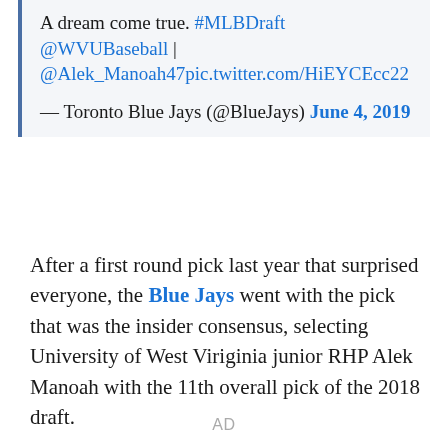A dream come true. #MLBDraft @WVUBaseball | @Alek_Manoah47pic.twitter.com/HiEYCEcc22

— Toronto Blue Jays (@BlueJays) June 4, 2019
After a first round pick last year that surprised everyone, the Blue Jays went with the pick that was the insider consensus, selecting University of West Viriginia junior RHP Alek Manoah with the 11th overall pick of the 2018 draft.
AD